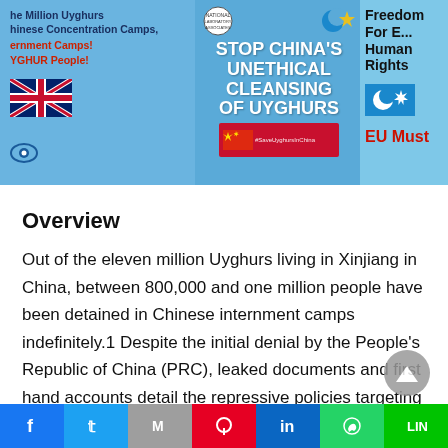[Figure (photo): Protesters holding blue banners and signs at a demonstration about Uyghur rights. Signs read: 'The Million Uyghurs Chinese Concentration Camps, Government Camps! YGHUR People!', 'STOP CHINA'S UNETHICAL CLEANSING OF UYGHURS #SaveUyghursInChina', 'Freedom For E... Human Rights', 'EU Must'. UK flag and East Turkestan flags visible.]
Overview
Out of the eleven million Uyghurs living in Xinjiang in China, between 800,000 and one million people have been detained in Chinese internment camps indefinitely.1 Despite the initial denial by the People's Republic of China (PRC), leaked documents and first hand accounts detail the repressive policies targeting the Uyghurs